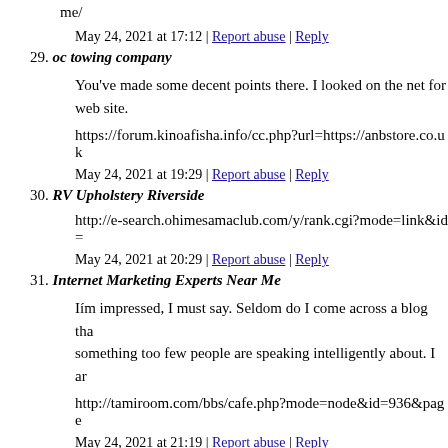me/
May 24, 2021 at 17:12 | Report abuse | Reply
29. oc towing company
You've made some decent points there. I looked on the net for web site.
https://forum.kinoafisha.info/cc.php?url=https://anbstore.co.uk
May 24, 2021 at 19:29 | Report abuse | Reply
30. RV Upholstery Riverside
http://e-search.ohimesamaclub.com/y/rank.cgi?mode=link&id=
May 24, 2021 at 20:29 | Report abuse | Reply
31. Internet Marketing Experts Near Me
Iím impressed, I must say. Seldom do I come across a blog that something too few people are speaking intelligently about. I am
http://tamiroom.com/bbs/cafe.php?mode=node&id=936&page
May 24, 2021 at 21:19 | Report abuse | Reply
32. RV Renovation Riverside